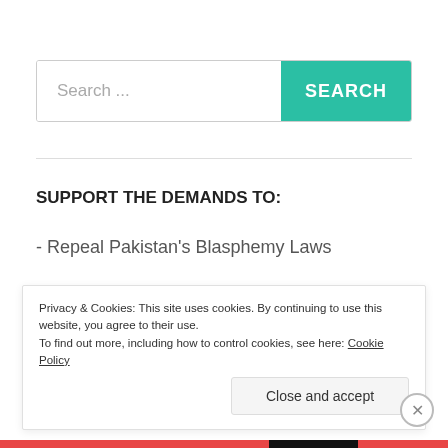[Figure (screenshot): Search bar with placeholder text 'Search ...' and a teal 'SEARCH' button]
SUPPORT THE DEMANDS TO:
- Repeal Pakistan's Blasphemy Laws
- Repeal the Hudood Ordinances
- Abolish Shariat Courts, Jirgas, other parallel legal
Privacy & Cookies: This site uses cookies. By continuing to use this website, you agree to their use.
To find out more, including how to control cookies, see here: Cookie Policy
Close and accept